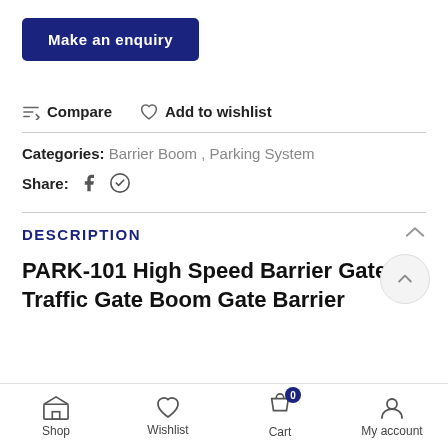Make an enquiry
Compare   Add to wishlist
Categories: Barrier Boom , Parking System
Share:
DESCRIPTION
PARK-101 High Speed Barrier Gate Traffic Gate Boom Gate Barrier
Shop   Wishlist   Cart   My account